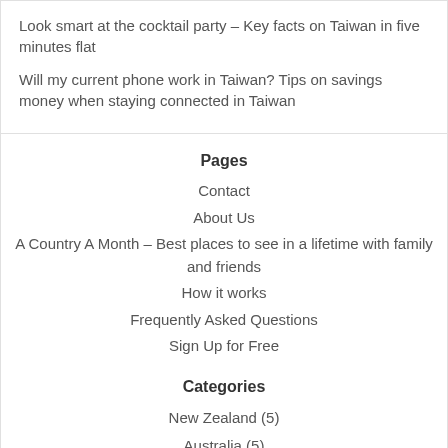Look smart at the cocktail party – Key facts on Taiwan in five minutes flat
Will my current phone work in Taiwan? Tips on savings money when staying connected in Taiwan
Pages
Contact
About Us
A Country A Month – Best places to see in a lifetime with family and friends
How it works
Frequently Asked Questions
Sign Up for Free
Categories
New Zealand (5)
Australia (5)
Holland (4)
Uncategorized (1)
Switzerland (1)
United States (1)